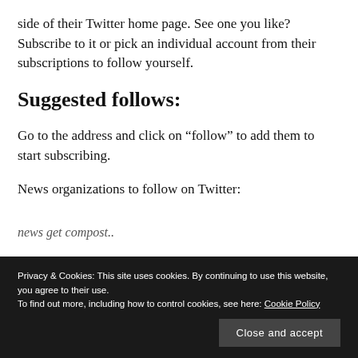side of their Twitter home page. See one you like? Subscribe to it or pick an individual account from their subscriptions to follow yourself.
Suggested follows:
Go to the address and click on “follow” to add them to start subscribing.
News organizations to follow on Twitter:
Privacy & Cookies: This site uses cookies. By continuing to use this website, you agree to their use.
To find out more, including how to control cookies, see here: Cookie Policy
Close and accept